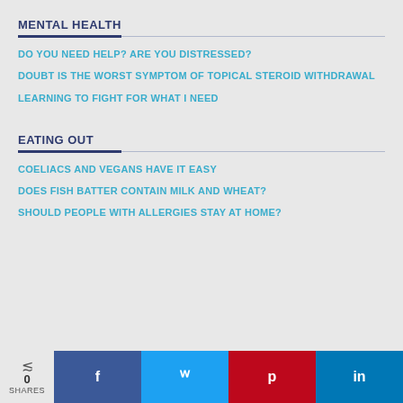MENTAL HEALTH
DO YOU NEED HELP? ARE YOU DISTRESSED?
DOUBT IS THE WORST SYMPTOM OF TOPICAL STEROID WITHDRAWAL
LEARNING TO FIGHT FOR WHAT I NEED
EATING OUT
COELIACS AND VEGANS HAVE IT EASY
DOES FISH BATTER CONTAIN MILK AND WHEAT?
SHOULD PEOPLE WITH ALLERGIES STAY AT HOME?
0 SHARES | f | t | p | in